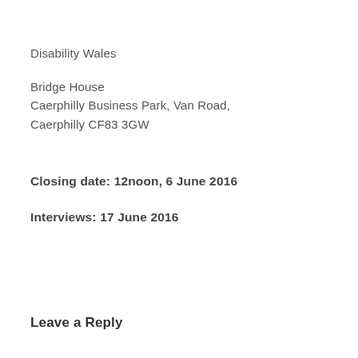Disability Wales
Bridge House
Caerphilly Business Park, Van Road,
Caerphilly CF83 3GW
Closing date: 12noon, 6 June 2016
Interviews: 17 June 2016
Leave a Reply